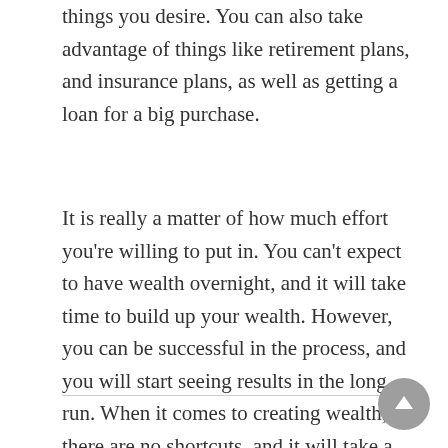things you desire. You can also take advantage of things like retirement plans, and insurance plans, as well as getting a loan for a big purchase.
It is really a matter of how much effort you're willing to put in. You can't expect to have wealth overnight, and it will take time to build up your wealth. However, you can be successful in the process, and you will start seeing results in the long run. When it comes to creating wealth, there are no shortcuts, and it will take a massive amount of work in order to see any real results.